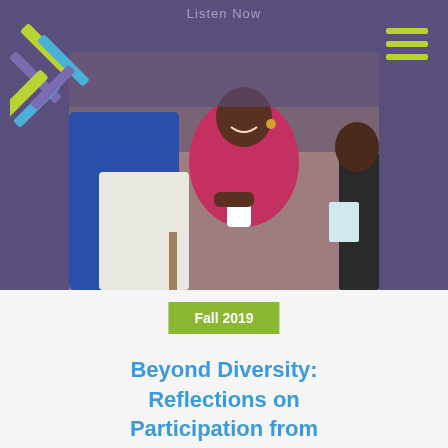Listen Now
[Figure (photo): Logo with X mark made of blue, purple, and lime green diagonal lines/bars on purple background]
[Figure (photo): Three women sitting outdoors having a conversation; central woman wearing pink holds a coffee cup; one woman wearing blue hijab in foreground]
Fall 2019
Beyond Diversity: Reflections on Participation from Two Women of Color